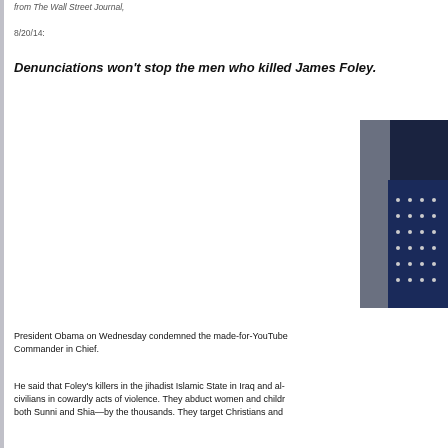from The Wall Street Journal,
8/20/14:
Denunciations won't stop the men who killed James Foley.
[Figure (photo): Photograph of a person at a podium with an American flag in the background, cropped to show the right portion of the image.]
President Obama on Wednesday condemned the made-for-YouTube Commander in Chief.
He said that Foley's killers in the jihadist Islamic State in Iraq and al-civilians in cowardly acts of violence. They abduct women and children both Sunni and Shia—by the thousands. They target Christians and